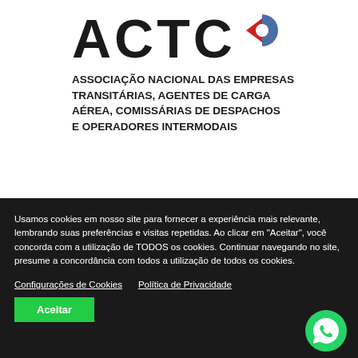[Figure (logo): ACTC logo with partial letters A C T C and a red/blue circular emblem on the right]
ASSOCIAÇÃO NACIONAL DAS EMPRESAS TRANSITÁRIAS, AGENTES DE CARGA AÉREA, COMISSÁRIAS DE DESPACHOS E OPERADORES INTERMODAIS
Usamos cookies em nosso site para fornecer a experiência mais relevante, lembrando suas preferências e visitas repetidas. Ao clicar em "Aceitar", você concorda com a utilização de TODOS os cookies. Continuar navegando no site, presume a concordância com todos a utilização de todos os cookies.
Configurações de Cookies   Política de Privacidade
Aceitar